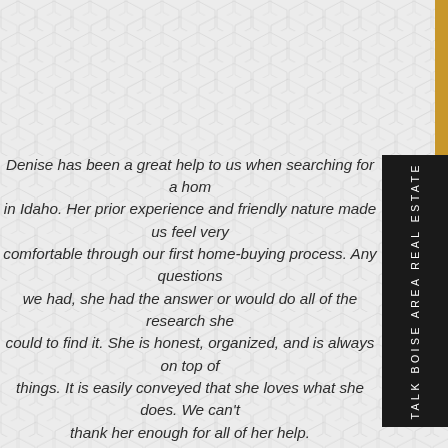[Figure (illustration): Hexagonal geometric background pattern in light gray on white]
TALK BOISE AREA REAL ESTATE
Denise has been a great help to us when searching for a home in Idaho. Her prior experience and friendly nature made us feel very comfortable through our first home-buying process. Any questions we had, she had the answer or would do all of the research she could to find it. She is honest, organized, and is always on top of things. It is easily conveyed that she loves what she does. We can't thank her enough for all of her help.